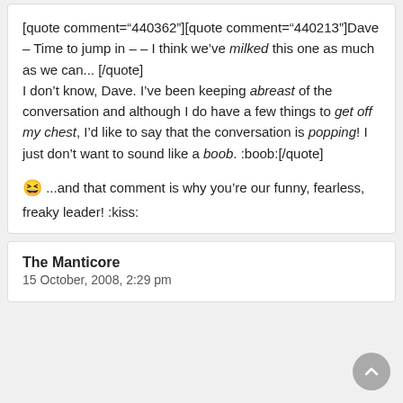[quote comment="440362"][quote comment="440213"]Dave – Time to jump in – – I think we've milked this one as much as we can... [/quote]
I don't know, Dave. I've been keeping abreast of the conversation and although I do have a few things to get off my chest, I'd like to say that the conversation is popping! I just don't want to sound like a boob. :boob:[/quote]

😆 ...and that comment is why you're our funny, fearless, freaky leader! :kiss:
The Manticore
15 October, 2008, 2:29 pm